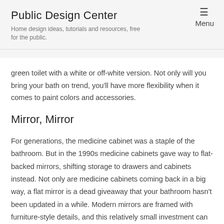Public Design Center
Home design ideas, tutorials and resources, free for the public.
Menu
green toilet with a white or off-white version. Not only will you bring your bath on trend, you'll have more flexibility when it comes to paint colors and accessories.
Mirror, Mirror
For generations, the medicine cabinet was a staple of the bathroom. But in the 1990s medicine cabinets gave way to flat-backed mirrors, shifting storage to drawers and cabinets instead. Not only are medicine cabinets coming back in a big way, a flat mirror is a dead giveaway that your bathroom hasn't been updated in a while. Modern mirrors are framed with furniture-style details, and this relatively small investment can